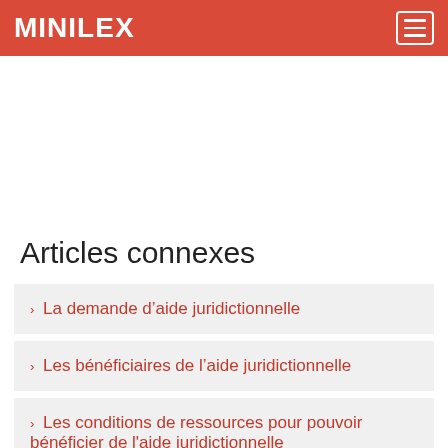MINILEX
Articles connexes
La demande d'aide juridictionnelle
Les bénéficiaires de l'aide juridictionnelle
Les conditions de ressources pour pouvoir bénéficier de l'aide juridictionnelle